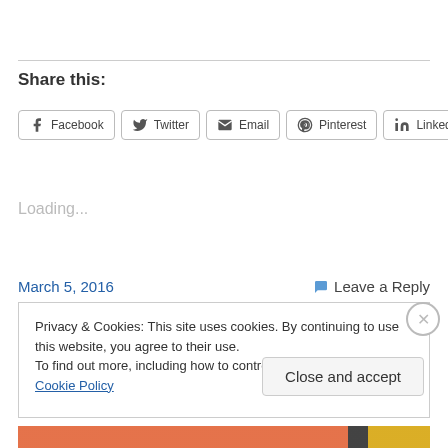Share this:
[Figure (other): Social share buttons: Facebook, Twitter, Email, Pinterest, LinkedIn]
Loading...
March 5, 2016
Leave a Reply
Privacy & Cookies: This site uses cookies. By continuing to use this website, you agree to their use.
To find out more, including how to control cookies, see here: Cookie Policy
Close and accept